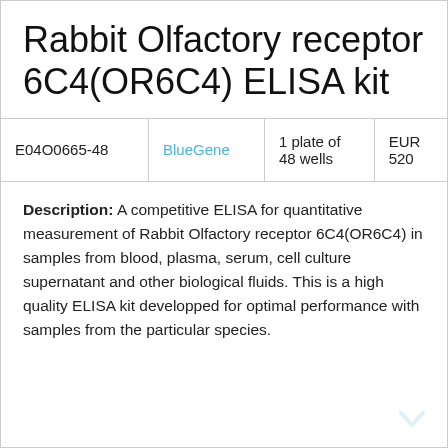Rabbit Olfactory receptor 6C4(OR6C4) ELISA kit
| E04O0665-48 | BlueGene | 1 plate of 48 wells | EUR 520 |
| --- | --- | --- | --- |
| E04O0665-48 | BlueGene | 1 plate of 48 wells | EUR 520 |
Description: A competitive ELISA for quantitative measurement of Rabbit Olfactory receptor 6C4(OR6C4) in samples from blood, plasma, serum, cell culture supernatant and other biological fluids. This is a high quality ELISA kit developped for optimal performance with samples from the particular species.